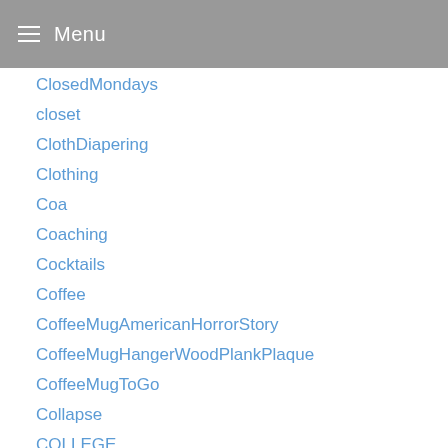Menu
ClosedMondays
closet
ClothDiapering
Clothing
Coa
Coaching
Cocktails
Coffee
CoffeeMugAmericanHorrorStory
CoffeeMugHangerWoodPlankPlaque
CoffeeMugToGo
Collapse
COLLEGE
Color
Columns
ComicBooks
CommandAndConquerGeneralsDownload